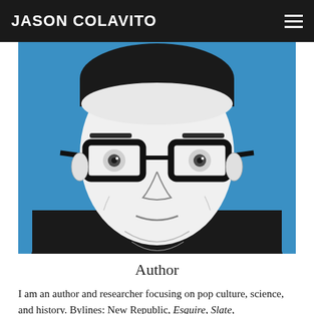JASON COLAVITO
[Figure (illustration): Stylized black-and-white illustration of a man with glasses wearing a dark jacket, set against a blue background, in a pop-art style.]
Author
I am an author and researcher focusing on pop culture, science, and history. Bylines: New Republic, Esquire, Slate,